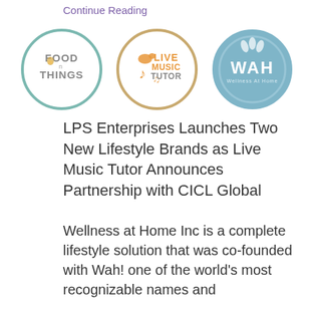Continue Reading
[Figure (logo): Three circular logos side by side: FoodnThings (grey/teal circle with food imagery), Live Music Tutor (tan/orange circle with bird and music notes), WAH Wellness At Home (blue circle with leaf design)]
LPS Enterprises Launches Two New Lifestyle Brands as Live Music Tutor Announces Partnership with CICL Global
Wellness at Home Inc is a complete lifestyle solution that was co-founded with Wah! one of the world's most recognizable names and the global best...